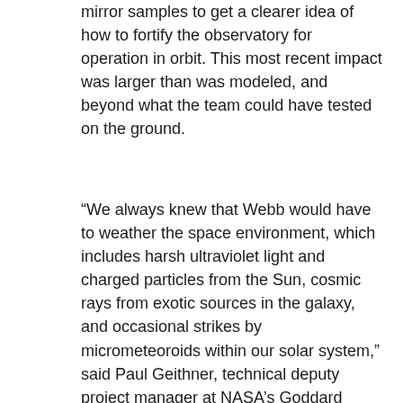mirror samples to get a clearer idea of how to fortify the observatory for operation in orbit. This most recent impact was larger than was modeled, and beyond what the team could have tested on the ground.
“We always knew that Webb would have to weather the space environment, which includes harsh ultraviolet light and charged particles from the Sun, cosmic rays from exotic sources in the galaxy, and occasional strikes by micrometeoroids within our solar system,” said Paul Geithner, technical deputy project manager at NASA’s Goddard Space Flight Center in Greenbelt, Maryland. “We designed and built Webb with performance margin – optical, thermal, electrical, mechanical – to ensure it can